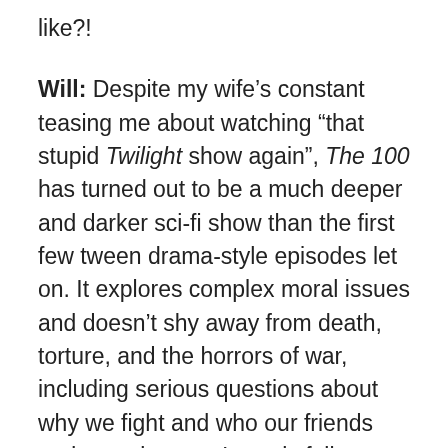like?!
Will: Despite my wife's constant teasing me about watching “that stupid Twilight show again”, The 100 has turned out to be a much deeper and darker sci-fi show than the first few tween drama-style episodes let on. It explores complex moral issues and doesn’t shy away from death, torture, and the horrors of war, including serious questions about why we fight and who our friends and enemies are. It rarely fails to introduce a completely hate-able villain or group, only to have us rooting for the very same people a few episodes later. The redemption arcs are many, and for the most part make sense